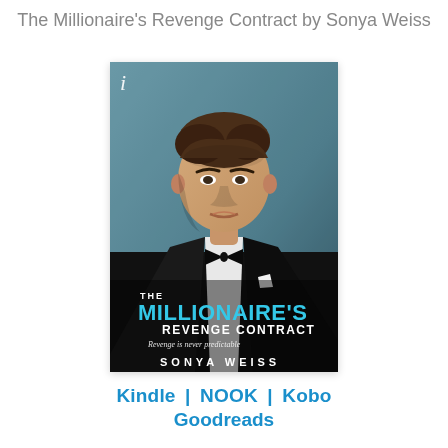The Millionaire's Revenge Contract by Sonya Weiss
[Figure (illustration): Book cover of 'The Millionaire's Revenge Contract' by Sonya Weiss. Shows a man in a black tuxedo with bow tie against a gray-blue background. Cover text reads: THE MILLIONAIRE'S REVENGE CONTRACT, Revenge is never predictable, SONYA WEISS. Small 'i' logo at top left.]
Kindle | NOOK | Kobo
Goodreads